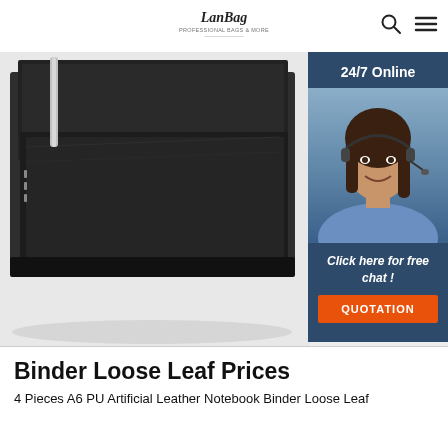LanBag
[Figure (photo): Product photo of a black leather notebook binder in a black gift box, shown from above at an angle. A customer service chat widget overlay appears on the right side with '24/7 Online' header, photo of a female agent with headset, 'Click here for free chat!' text, and an orange QUOTATION button.]
Binder Loose Leaf Prices
4 Pieces A6 PU Artificial Leather Notebook Binder Loose Leaf